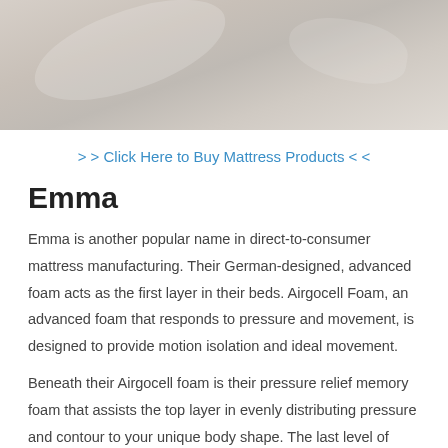[Figure (photo): Close-up photo of white/cream crumpled bedsheets or fabric, light gray-beige tones]
> > Click Here to Buy Mattress Products < <
Emma
Emma is another popular name in direct-to-consumer mattress manufacturing. Their German-designed, advanced foam acts as the first layer in their beds. Airgocell Foam, an advanced foam that responds to pressure and movement, is designed to provide motion isolation and ideal movement.
Beneath their Airgocell foam is their pressure relief memory foam that assists the top layer in evenly distributing pressure and contour to your unique body shape. The last level of foam is their specifically-designed spinal alignment foundational foam, manufactured with deep ridges for counter-pressure and lower-